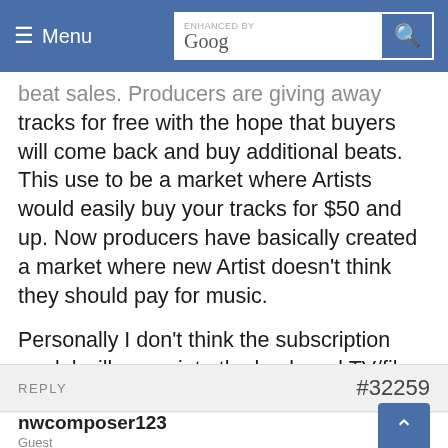Menu | ENHANCED BY Google [search]
beat sales. Producers are giving away tracks for free with the hope that buyers will come back and buy additional beats. This use to be a market where Artists would easily buy your tracks for $50 and up. Now producers have basically created a market where new Artist doesn't think they should pay for music.

Personally I don't think the subscription model will creep into the back-end TV/film world, but I can see where it would give libraries like Pond5, AudioJungle, etc a run for their money.
REPLY  #32259
nwcomposer123
Guest